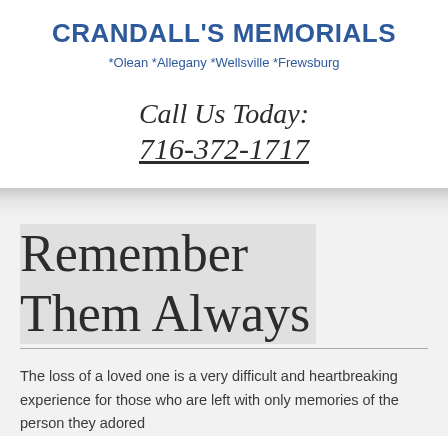CRANDALL'S MEMORIALS
*Olean *Allegany *Wellsville *Frewsburg
Call Us Today: 716-372-1717
Remember Them Always
The loss of a loved one is a very difficult and heartbreaking experience for those who are left with only memories of the person they adored